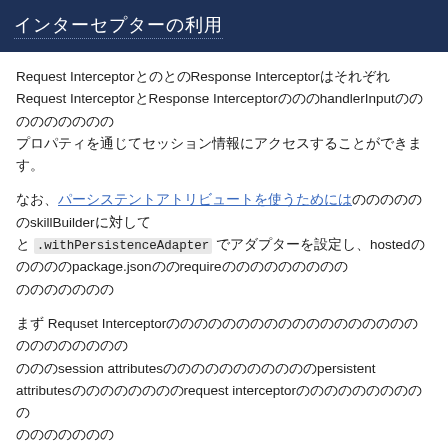インターセプターの利用
Request InterceptorとResponse InterceptorはそれぞれRequest InterceptorとResponse InterceptorのhandlerInputなどのプロパティを通じてセッション情報にアクセスすることができます。
なお、パーシステントアトリビュートを使うためにはskillBuilderに対して .withPersistenceAdapter でアダプターを設定し、hostedスキルの場合はpackage.jsonでrequireして使う必要があります。
まず Requset Interceptorでセッションアトリビュートにある session attributes を確認して persistent attributes にコピーし、request interceptorの実行後にセッション情報を確認します。